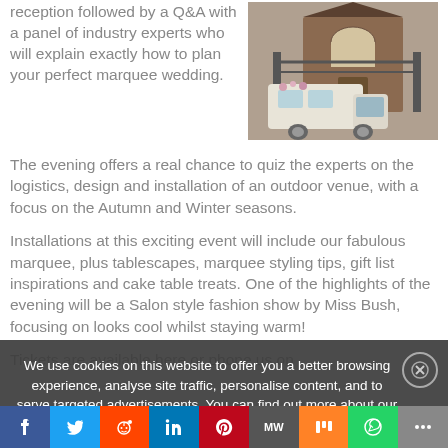reception followed by a Q&A with a panel of industry experts who will explain exactly how to plan your perfect marquee wedding.
[Figure (photo): A vintage cream/white van parked outside a brick building with iron gates, decorated with flowers.]
The evening offers a real chance to quiz the experts on the logistics, design and installation of an outdoor venue, with a focus on the Autumn and Winter seasons.
Installations at this exciting event will include our fabulous marquee, plus tablescapes, marquee styling tips, gift list inspirations and cake table treats. One of the highlights of the evening will be a Salon style fashion show by Miss Bush, focusing on looks cool whilst staying warm!
Tickets are available here or phone us on
We use cookies on this website to offer you a better browsing experience, analyse site traffic, personalise content, and to serve targeted advertisements. You can find out more about our cookies policy, update your preferences or disable cookies by clicking learn more. By continuing to use this site, you consent to our use of cookies.